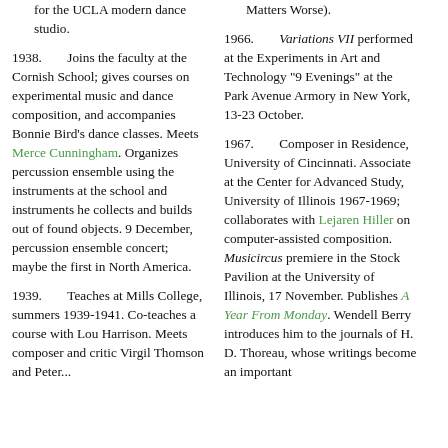for the UCLA modern dance studio.
1938. Joins the faculty at the Cornish School; gives courses on experimental music and dance composition, and accompanies Bonnie Bird's dance classes. Meets Merce Cunningham. Organizes percussion ensemble using the instruments at the school and instruments he collects and builds out of found objects. 9 December, percussion ensemble concert; maybe the first in North America.
1939. Teaches at Mills College, summers 1939-1941. Co-teaches a course with Lou Harrison. Meets composer and critic Virgil Thomson and Peter...
Matters Worse).
1966. Variations VII performed at the Experiments in Art and Technology "9 Evenings" at the Park Avenue Armory in New York, 13-23 October.
1967. Composer in Residence, University of Cincinnati. Associate at the Center for Advanced Study, University of Illinois 1967-1969; collaborates with Lejaren Hiller on computer-assisted composition. Musicircus premiere in the Stock Pavilion at the University of Illinois, 17 November. Publishes A Year From Monday. Wendell Berry introduces him to the journals of H. D. Thoreau, whose writings become an important...